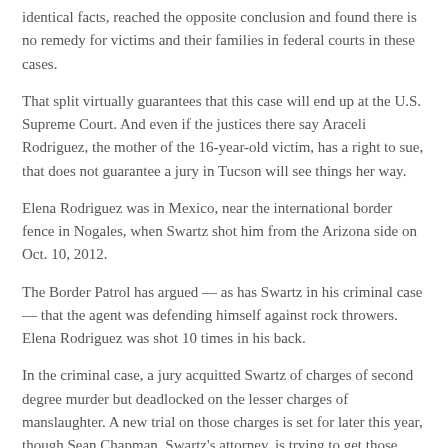identical facts, reached the opposite conclusion and found there is no remedy for victims and their families in federal courts in these cases.
That split virtually guarantees that this case will end up at the U.S. Supreme Court. And even if the justices there say Araceli Rodriguez, the mother of the 16-year-old victim, has a right to sue, that does not guarantee a jury in Tucson will see things her way.
Elena Rodriguez was in Mexico, near the international border fence in Nogales, when Swartz shot him from the Arizona side on Oct. 10, 2012.
The Border Patrol has argued — as has Swartz in his criminal case — that the agent was defending himself against rock throwers. Elena Rodriguez was shot 10 times in his back.
In the criminal case, a jury acquitted Swartz of charges of second degree murder but deadlocked on the lesser charges of manslaughter. A new trial on those charges is set for later this year, though Sean Chapman, Swartz's attorney, is trying to get those dismissed.